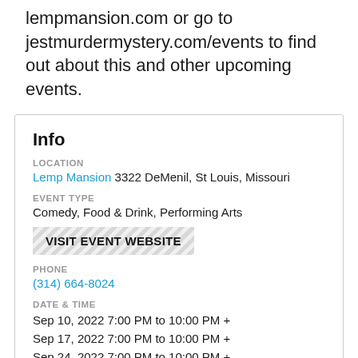lempmansion.com or go to jestmurdermystery.com/events to find out about this and other upcoming events.
Info
LOCATION
Lemp Mansion 3322 DeMenil, St Louis, Missouri
EVENT TYPE
Comedy, Food & Drink, Performing Arts
VISIT EVENT WEBSITE
PHONE
(314) 664-8024
DATE & TIME
Sep 10, 2022 7:00 PM to 10:00 PM +
Sep 17, 2022 7:00 PM to 10:00 PM +
Sep 24, 2022 7:00 PM to 10:00 PM +